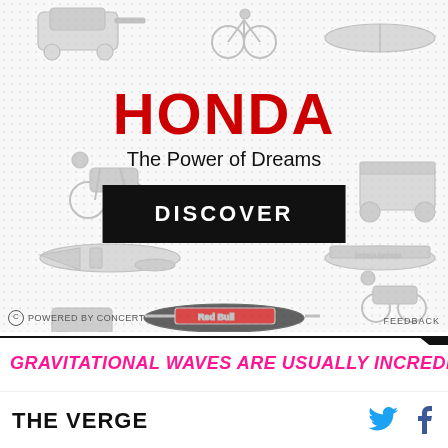[Figure (illustration): Honda advertisement banner with vehicle illustrations (cars, motorcycles, aircraft, F1 Red Bull car, boats) in light gray line-art style on a dotted background, with HONDA logo in red, tagline 'The Power of Dreams', and a black DISCOVER button. Footer shows 'Powered by Concert' and 'Feedback'.]
GRAVITATIONAL WAVES ARE USUALLY INCREBIBLY
THE VERGE